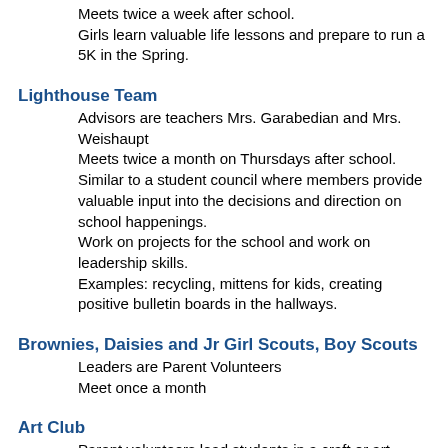Meets twice a week after school.
Girls learn valuable life lessons and prepare to run a 5K in the Spring.
Lighthouse Team
Advisors are teachers Mrs. Garabedian and Mrs. Weishaupt
Meets twice a month on Thursdays after school.
Similar to a student council where members provide valuable input into the decisions and direction on school happenings.
Work on projects for the school and work on leadership skills.
Examples: recycling, mittens for kids, creating positive bulletin boards in the hallways.
Brownies, Daisies and Jr Girl Scouts, Boy Scouts
Leaders are Parent Volunteers
Meet once a month
Art Club
Parent volunteers lead students in a craft or art project.  Information flyers are sent home and parents can sign their student up for a nominal cost to cover materials.